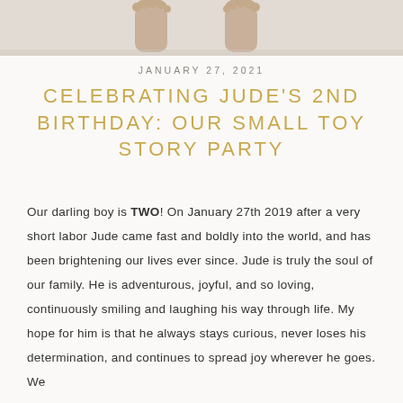[Figure (photo): Bottom of a child's bare feet standing on a light surface, cropped at the top of the page]
JANUARY 27, 2021
CELEBRATING JUDE'S 2ND BIRTHDAY: OUR SMALL TOY STORY PARTY
Our darling boy is TWO! On January 27th 2019 after a very short labor Jude came fast and boldly into the world, and has been brightening our lives ever since. Jude is truly the soul of our family. He is adventurous, joyful, and so loving, continuously smiling and laughing his way through life. My hope for him is that he always stays curious, never loses his determination, and continues to spread joy wherever he goes. We